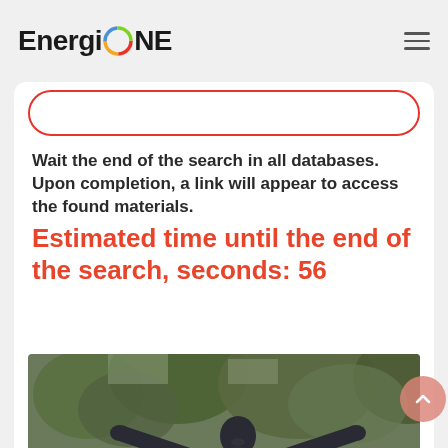EnergiONE
Wait the end of the search in all databases.
Upon completion, a link will appear to access the found materials.
Estimated time until the end of the search, seconds: 56
[Figure (photo): Black and white photo of a statue of a person with arms wide open, surrounded by trees]